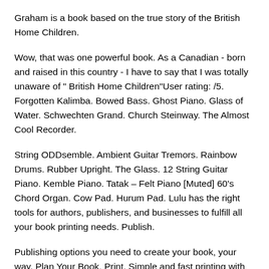Graham is a book based on the true story of the British Home Children.
Wow, that was one powerful book. As a Canadian - born and raised in this country - I have to say that I was totally unaware of " British Home Children"User rating: /5. Forgotten Kalimba. Bowed Bass. Ghost Piano. Glass of Water. Schwechten Grand. Church Steinway. The Almost Cool Recorder.
String ODDsemble. Ambient Guitar Tremors. Rainbow Drums. Rubber Upright. The Glass. 12 String Guitar Piano. Kemble Piano. Tatak – Felt Piano [Muted] 60's Chord Organ. Cow Pad. Hurum Pad. Lulu has the right tools for authors, publishers, and businesses to fulfill all your book printing needs. Publish.
Publishing options you need to create your book, your way. Plan Your Book. Print. Simple and fast printing with no hidden fees.
Print Your Book. Connect. Plug into our print network with xPress for Shopify or our Print API. Prismatic dragons were legendary beasts of folktales and myths 1 1 Description 2 Personality 3 Society 4 Appendix